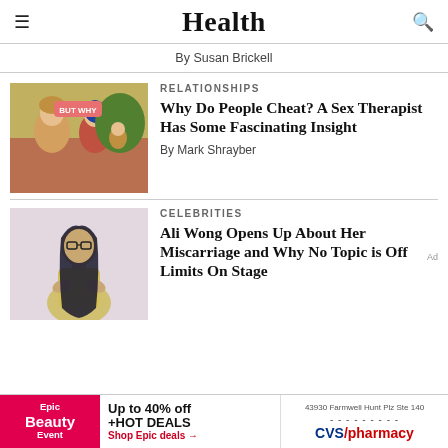Health
By Susan Brickell
RELATIONSHIPS
Why Do People Cheat? A Sex Therapist Has Some Fascinating Insight
By Mark Shrayber
CELEBRITIES
Ali Wong Opens Up About Her Miscarriage and Why No Topic is Off Limits On Stage
[Figure (illustration): Comic-style illustration of a couple embracing with text overlay 'BUT WHY']
[Figure (photo): Photo of Ali Wong, woman with glasses and long dark hair, wearing a yellow outfit]
Ad
Epic Beauty Event  Up to 40% off +HOT DEALS  Shop Epic deals
43930 Farmwell Hunt Plz Ste 140  CVS/pharmacy